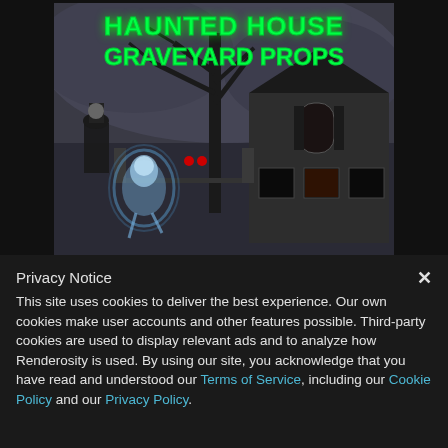[Figure (illustration): Haunted house graveyard props promotional image showing a spooky haunted house scene with ghost figures and bare trees. Green glowing text at top reads 'HAUNTED HOUSE GRAVEYARD PROPS'. A glowing blue ghost figure is visible in the foreground left, and a figure in a top hat is on the left side. A large dark haunted house building is visible on the right.]
Privacy Notice
This site uses cookies to deliver the best experience. Our own cookies make user accounts and other features possible. Third-party cookies are used to display relevant ads and to analyze how Renderosity is used. By using our site, you acknowledge that you have read and understood our Terms of Service, including our Cookie Policy and our Privacy Policy.